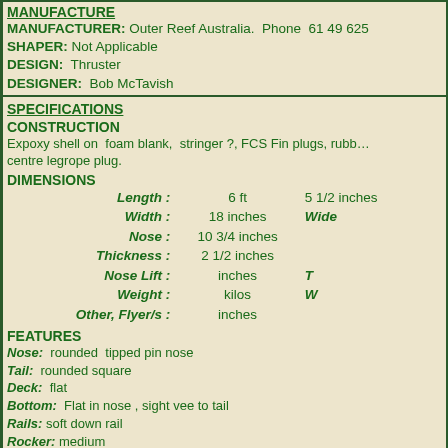MANUFACTURE
MANUFACTURER: Outer Reef Australia.  Phone  61 49 625
SHAPER: Not Applicable
DESIGN:  Thruster
DESIGNER:  Bob McTavish
SPECIFICATIONS
CONSTRUCTION
Expoxy shell on  foam blank,  stringer ?, FCS Fin plugs, rubber centre legrope plug.
DIMENSIONS
| Label | Value1 | Value2 |
| --- | --- | --- |
| Length : | 6 ft | 5 1/2 inches |
| Width : | 18 inches | Wide |
| Nose : | 10 3/4 inches |  |
| Thickness : | 2 1/2 inches |  |
| Nose Lift : | inches | T |
| Weight : | kilos | W |
| Other, Flyer/s : | inches |  |
FEATURES
Nose: rounded  tipped pin nose
Tail: rounded square
Deck: flat
Bottom: Flat in nose , sight vee to tail
Rails: soft down rail
Rocker: medium